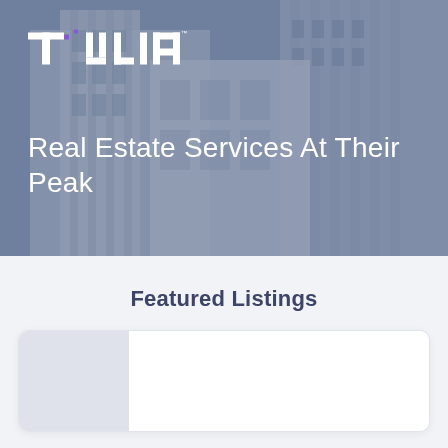[Figure (photo): Hero image of a modern white multi-story building/apartment complex photographed at an angle, muted blue-gray tones with overlay. TULIA logo in top-left with TM mark.]
Real Estate Services At Their Peak
Featured Listings
[Figure (photo): Property listing card placeholder image area (gray rectangle)]